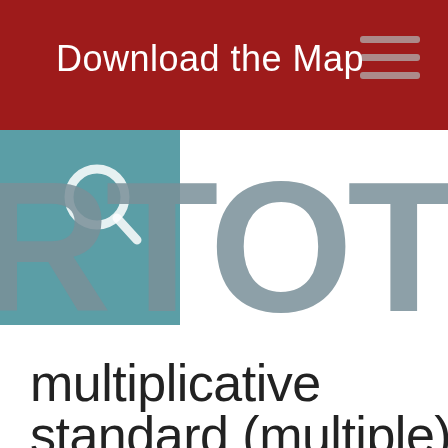[Figure (screenshot): Website header bar in dark red with text 'Download the Map' and hamburger menu icon in top right corner]
[Figure (logo): RTOTY logo with teal square background on left portion, magnifying glass icon overlay, and large grey letters spelling out partial text 'RTOTY']
multiplicative
standard (multiple)